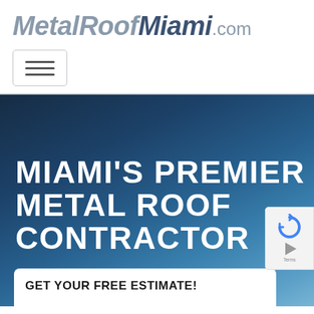MetalRoofMiami.com
[Figure (other): Hamburger/navigation menu toggle button with three horizontal bars]
[Figure (screenshot): Hero banner with dark blue gradient background showing the heading 'MIAMI'S PREMIER METAL ROOF CONTRACTOR' in large bold white uppercase text, a white form card at the bottom with text 'GET YOUR FREE ESTIMATE!', and a reCAPTCHA badge on the right side.]
MIAMI'S PREMIER METAL ROOF CONTRACTOR
GET YOUR FREE ESTIMATE!